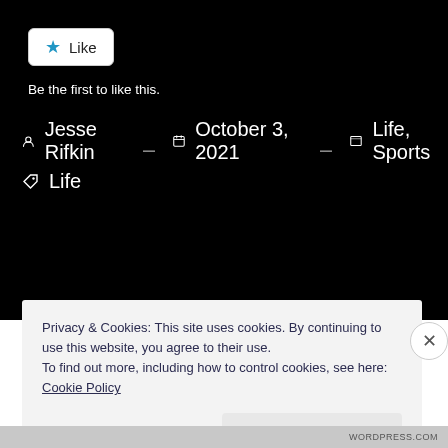[Figure (screenshot): Like button with star icon on black background]
Be the first to like this.
Jesse Rifkin  October 3, 2021  Life, Sports
Life
Privacy & Cookies: This site uses cookies. By continuing to use this website, you agree to their use.
To find out more, including how to control cookies, see here: Cookie Policy
Close and accept